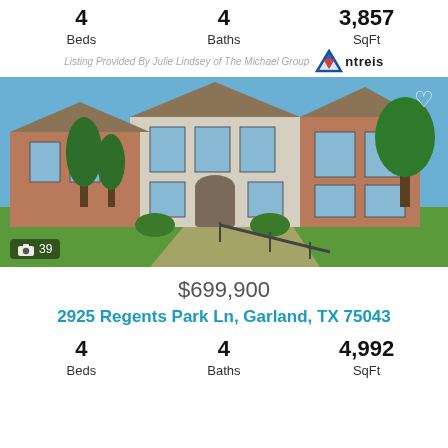4 Beds
4 Baths
3,857 SqFt
Listing Provided By Julie Lindsey of The Michael Group  ntreis
[Figure (photo): Two-story brick and stone house exterior with trees, landscaping, driveway, and railings. Camera icon shows 39 photos.]
$699,900
2925 Regents Park Ln, Garland, TX 75043
4 Beds
4 Baths
4,992 SqFt